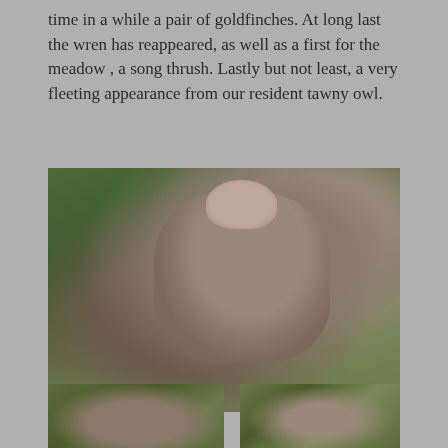time in a while a pair of goldfinches. At long last the wren has reappeared, as well as a first for the meadow , a song thrush. Lastly but not least, a very fleeting appearance from our resident tawny owl.
[Figure (photo): A brown rat perched on mossy, lichen-covered wood surrounded by green foliage]
[Figure (photo): Bottom-left photo of a rat on wooden bark with green background]
[Figure (photo): Bottom-right photo of a rat among greenery]